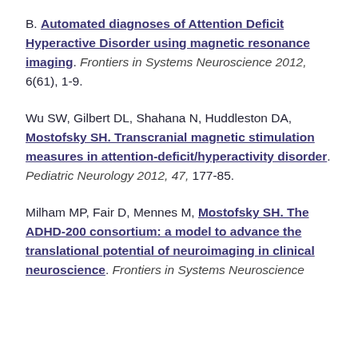B. Automated diagnoses of Attention Deficit Hyperactive Disorder using magnetic resonance imaging. Frontiers in Systems Neuroscience 2012, 6(61), 1-9.
Wu SW, Gilbert DL, Shahana N, Huddleston DA, Mostofsky SH. Transcranial magnetic stimulation measures in attention-deficit/hyperactivity disorder. Pediatric Neurology 2012, 47, 177-85.
Milham MP, Fair D, Mennes M, Mostofsky SH. The ADHD-200 consortium: a model to advance the translational potential of neuroimaging in clinical neuroscience. Frontiers in Systems Neuroscience